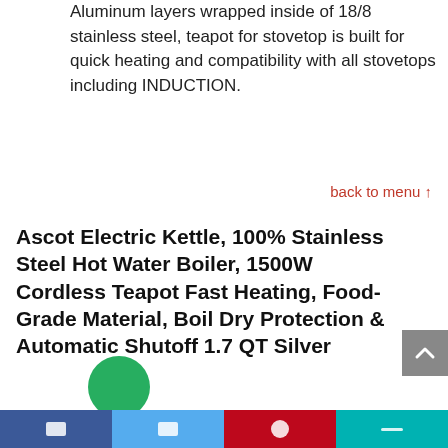Aluminum layers wrapped inside of 18/8 stainless steel, teapot for stovetop is built for quick heating and compatibility with all stovetops including INDUCTION.
back to menu ↑
Ascot Electric Kettle, 100% Stainless Steel Hot Water Boiler, 1500W Cordless Teapot Fast Heating, Food-Grade Material, Boil Dry Protection & Automatic Shutoff 1.7 QT Silver